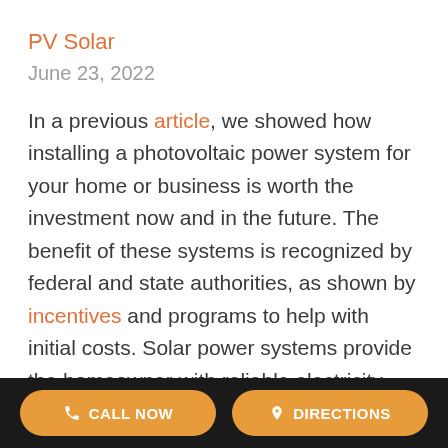PV Solar
June 23, 2022
In a previous article, we showed how installing a photovoltaic power system for your home or business is worth the investment now and in the future. The benefit of these systems is recognized by federal and state authorities, as shown by incentives and programs to help with initial costs. Solar power systems provide the homeowner with reliable electricity generated by their own means. What’s more, you can send the surplus energy to the electrical grid and receive
CALL NOW   DIRECTIONS